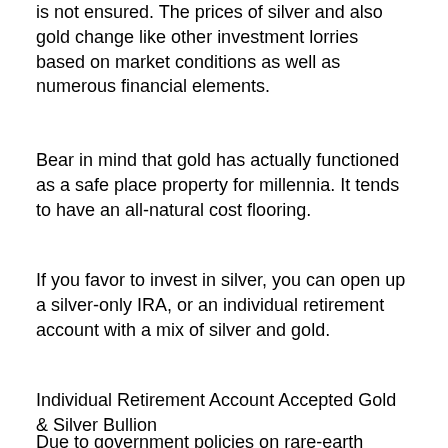is not ensured. The prices of silver and also gold change like other investment lorries based on market conditions as well as numerous financial elements.
Bear in mind that gold has actually functioned as a safe place property for millennia. It tends to have an all-natural cost flooring.
If you favor to invest in silver, you can open up a silver-only IRA, or an individual retirement account with a mix of silver and gold.
Individual Retirement Account Accepted Gold & Silver Bullion
Due to government policies on rare-earth